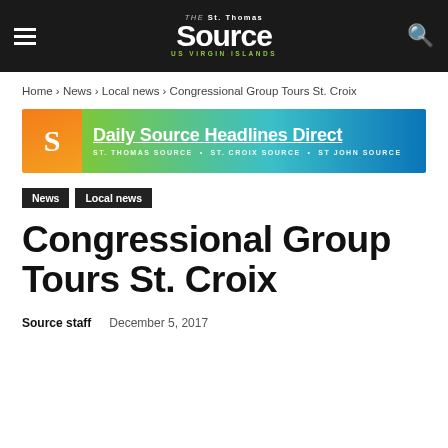THE St. Thomas Source US VIRGIN ISLANDS
Home › News › Local news › Congressional Group Tours St. Croix
[Figure (infographic): Daily Source Headlines Direct banner ad showing orange left panel with 'S' logo and green-to-blue gradient right panel with text: 'Daily Source Headlines Direct' and 'ST. THOMAS SOURCE • ST. CROIX SOURCE • ST JOHN SOURCE']
News
Local news
Congressional Group Tours St. Croix
Source staff   December 5, 2017